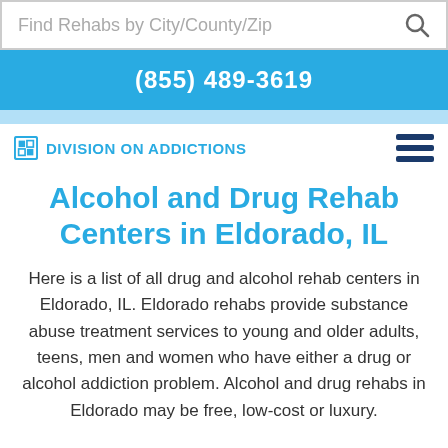Find Rehabs by City/County/Zip
(855) 489-3619
Division On Addictions
Alcohol and Drug Rehab Centers in Eldorado, IL
Here is a list of all drug and alcohol rehab centers in Eldorado, IL. Eldorado rehabs provide substance abuse treatment services to young and older adults, teens, men and women who have either a drug or alcohol addiction problem. Alcohol and drug rehabs in Eldorado may be free, low-cost or luxury.